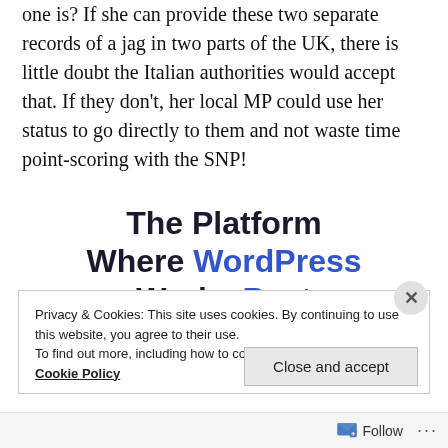one is? If she can provide these two separate records of a jag in two parts of the UK, there is little doubt the Italian authorities would accept that. If they don't, her local MP could use her status to go directly to them and not waste time point-scoring with the SNP!
[Figure (infographic): Advertisement banner: 'The Platform Where WordPress Works Best' with 'WordPress' and 'Best' in blue bold text]
Privacy & Cookies: This site uses cookies. By continuing to use this website, you agree to their use.
To find out more, including how to control cookies, see here: Cookie Policy
Close and accept
Follow